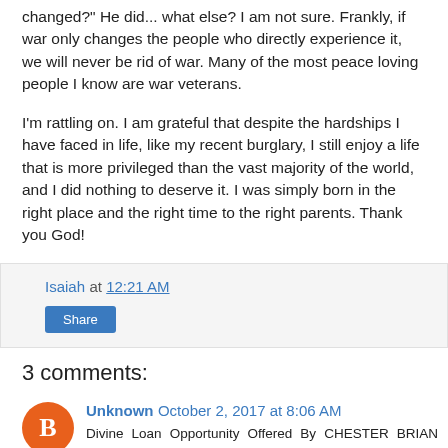changed?" He did... what else? I am not sure. Frankly, if war only changes the people who directly experience it, we will never be rid of war. Many of the most peace loving people I know are war veterans.
I'm rattling on. I am grateful that despite the hardships I have faced in life, like my recent burglary, I still enjoy a life that is more privileged than the vast majority of the world, and I did nothing to deserve it. I was simply born in the right place and the right time to the right parents. Thank you God!
Isaiah at 12:21 AM
Share
3 comments:
Unknown October 2, 2017 at 8:06 AM
Divine Loan Opportunity Offered By CHESTER BRIAN LOANS That Save My Family From Financial Bondage